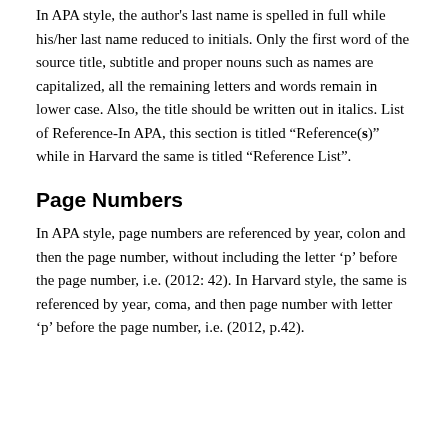In APA style, the author's last name is spelled in full while his/her last name reduced to initials. Only the first word of the source title, subtitle and proper nouns such as names are capitalized, all the remaining letters and words remain in lower case. Also, the title should be written out in italics. List of Reference-In APA, this section is titled “Reference(s)” while in Harvard the same is titled “Reference List”.
Page Numbers
In APA style, page numbers are referenced by year, colon and then the page number, without including the letter ‘p’ before the page number, i.e. (2012: 42). In Harvard style, the same is referenced by year, coma, and then page number with letter ‘p’ before the page number, i.e. (2012, p.42).